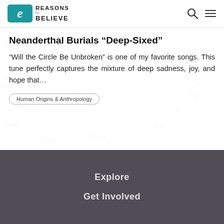Reasons to Believe
Neanderthal Burials “Deep-Sixed”
“Will the Circle Be Unbroken” is one of my favorite songs. This tune perfectly captures the mixture of deep sadness, joy, and hope that…
Human Origins & Anthropology
Explore
Get Involved